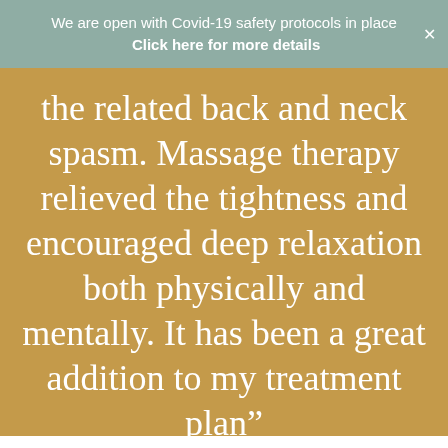We are open with Covid-19 safety protocols in place  Click here for more details
the related back and neck spasm. Massage therapy relieved the tightness and encouraged deep relaxation both physically and mentally. It has been a great addition to my treatment plan”